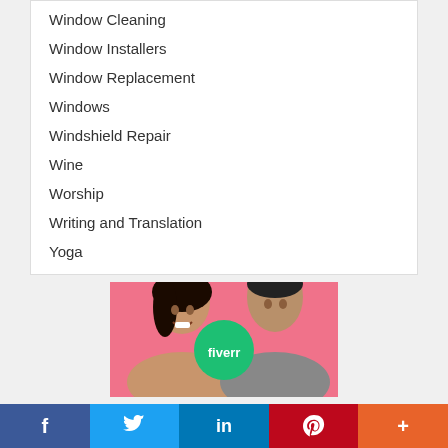Window Cleaning
Window Installers
Window Replacement
Windows
Windshield Repair
Wine
Worship
Writing and Translation
Yoga
[Figure (illustration): Fiverr advertisement banner showing two smiling people (a woman and a man) against a pink background with a green circular Fiverr logo in the center]
[Figure (infographic): Social media share bar with Facebook (blue), Twitter (light blue), LinkedIn (dark blue), Pinterest (red), and More (orange) buttons]